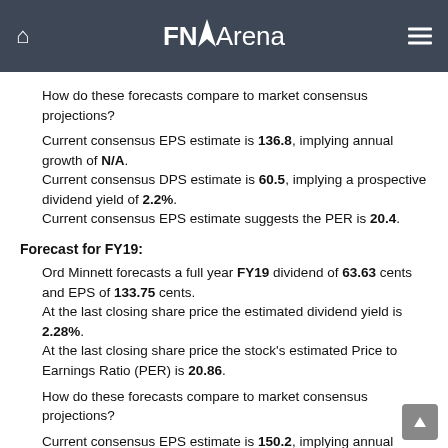FNArena
How do these forecasts compare to market consensus projections?
Current consensus EPS estimate is 136.8, implying annual growth of N/A. Current consensus DPS estimate is 60.5, implying a prospective dividend yield of 2.2%. Current consensus EPS estimate suggests the PER is 20.4.
Forecast for FY19:
Ord Minnett forecasts a full year FY19 dividend of 63.63 cents and EPS of 133.75 cents. At the last closing share price the estimated dividend yield is 2.28%. At the last closing share price the stock's estimated Price to Earnings Ratio (PER) is 20.86.
How do these forecasts compare to market consensus projections?
Current consensus EPS estimate is 150.2, implying annual growth of 9.8%.
Current consensus DPS estimate is 65.3, implying a prospective